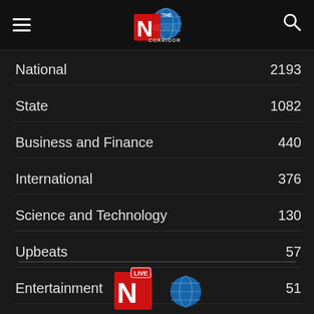The News Corridor
National 2193
State 1082
Business and Finance 440
International 376
Science and Technology 130
Upbeats 57
Entertainment 51
Language 13
[Figure (logo): The News Corridor logo partial view at bottom of page]